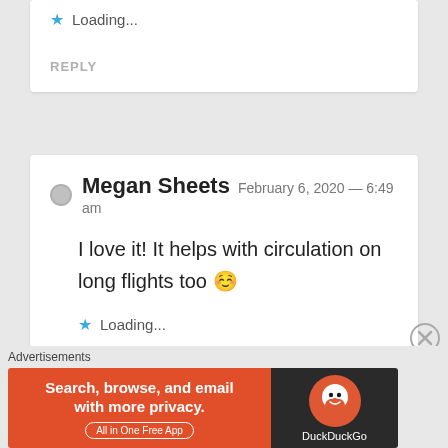Loading...
REPLY
Megan Sheets  February 6, 2020 — 6:49 am
I love it! It helps with circulation on long flights too 😊
Loading...
Advertisements
[Figure (other): DuckDuckGo advertisement banner: orange section with text 'Search, browse, and email with more privacy.' and 'All in One Free App', black section with DuckDuckGo logo and name]